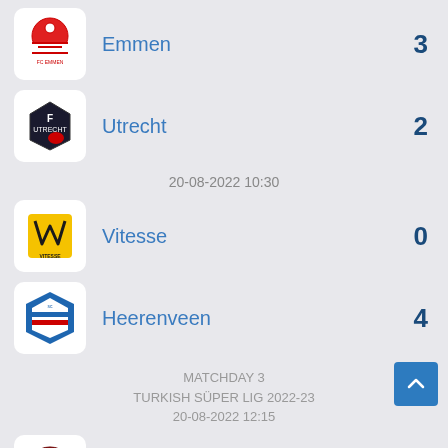Emmen 3
Utrecht 2
20-08-2022 10:30
Vitesse 0
Heerenveen 4
MATCHDAY 3
TURKISH SÜPER LIG 2022-23
20-08-2022 12:15
Hatayspor 1
Gaziantep 2